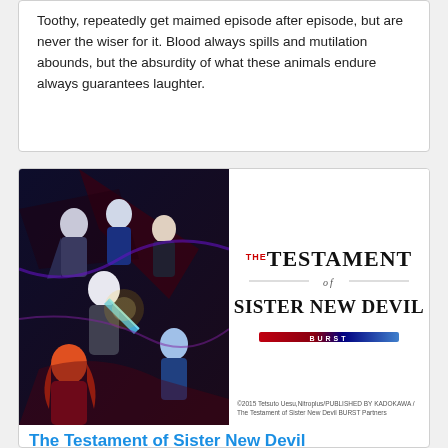Toothy, repeatedly get maimed episode after episode, but are never the wiser for it. Blood always spills and mutilation abounds, but the absurdity of what these animals endure always guarantees laughter.
[Figure (illustration): Anime promotional image for The Testament of Sister New Devil BURST, showing multiple anime characters in action poses against a dark background, alongside the show's logo text.]
©2015 Tetsuto Uesu,Nitroplus/PUBLISHED BY KADOKAWA / The Testament of Sister New Devil BURST Partners
The Testament of Sister New Devil